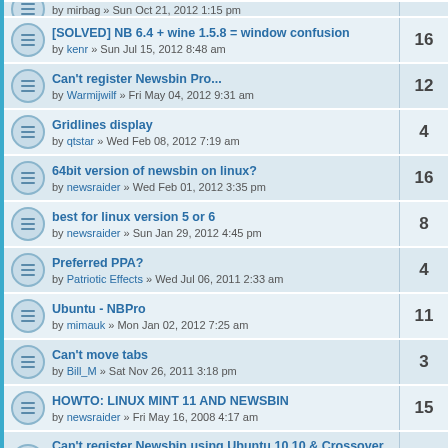[SOLVED] NB 6.4 + wine 1.5.8 = window confusion by kenr » Sun Jul 15, 2012 8:48 am | 16
Can't register Newsbin Pro... by Warmijwilf » Fri May 04, 2012 9:31 am | 12
Gridlines display by qtstar » Wed Feb 08, 2012 7:19 am | 4
64bit version of newsbin on linux? by newsraider » Wed Feb 01, 2012 3:35 pm | 16
best for linux version 5 or 6 by newsraider » Sun Jan 29, 2012 4:45 pm | 8
Preferred PPA? by Patriotic Effects » Wed Jul 06, 2011 2:33 am | 4
Ubuntu - NBPro by mimauk » Mon Jan 02, 2012 7:25 am | 11
Can't move tabs by Bill_M » Sat Nov 26, 2011 3:18 pm | 3
HOWTO: LINUX MINT 11 AND NEWSBIN by newsraider » Fri May 16, 2008 4:17 am | 15
Can't register Newsbin using Ubuntu 10.10 & Crossover Linux by barqy » Thu Oct 14, 2010 4:32 pm | 20
Ubuntu 11.04 + wine 1.2.2